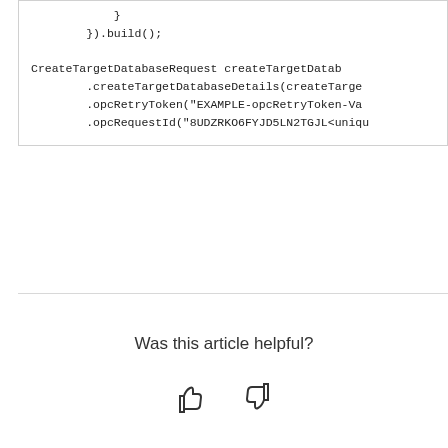}
        }).build();

CreateTargetDatabaseRequest createTargetDatab
        .createTargetDatabaseDetails(createTarge
        .opcRetryToken("EXAMPLE-opcRetryToken-Va
        .opcRequestId("8UDZRKO6FYJD5LN2TGJL<uniqu

        /* Send request to the Client */
        CreateTargetDatabaseResponse response = c
    }
}
Was this article helpful?